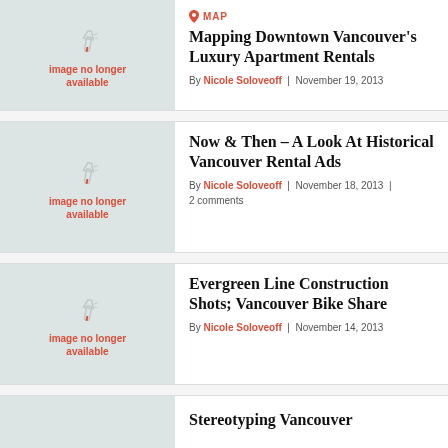[Figure (other): Image no longer available placeholder thumbnail]
MAP
Mapping Downtown Vancouver's Luxury Apartment Rentals
By Nicole Soloveoff | November 19, 2013
[Figure (other): Image no longer available placeholder thumbnail]
Now & Then - A Look At Historical Vancouver Rental Ads
By Nicole Soloveoff | November 18, 2013 | 2 comments
[Figure (other): Image no longer available placeholder thumbnail]
Evergreen Line Construction Shots; Vancouver Bike Share
By Nicole Soloveoff | November 14, 2013
[Figure (other): Image no longer available placeholder thumbnail]
Stereotyping Vancouver